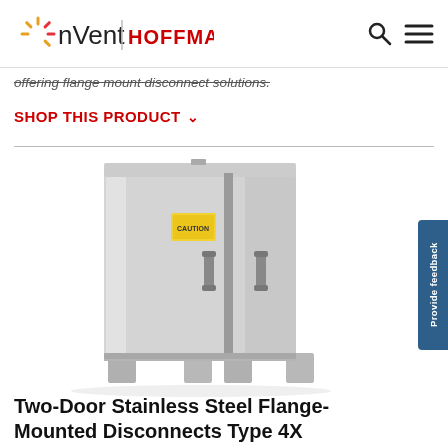nVent | HOFFMAN
offering flange mount disconnect solutions.
SHOP THIS PRODUCT
[Figure (photo): Stainless steel two-door flange-mounted disconnect enclosure, Type 4X, floor-standing on legs, with two handles and a label on the front.]
Two-Door Stainless Steel Flange-Mounted Disconnects Type 4X